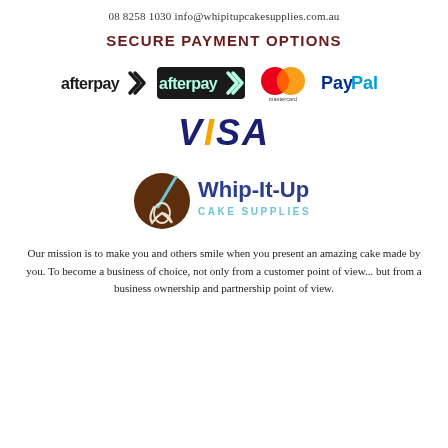08 8258 1030 info@whipitupcakesupplies.com.au
SECURE PAYMENT OPTIONS
[Figure (logo): Afterpay logo (black text version), Afterpay logo (blue text version), Mastercard logo (overlapping red and orange circles with mastercard text), PayPal logo (blue text)]
[Figure (logo): VISA logo in bold blue and yellow italic text]
[Figure (logo): Whip-It-Up Cake Supplies logo with a whisk inside a chocolate circle and branded text]
Our mission is to make you and others smile when you present an amazing cake made by you. To become a business of choice, not only from a customer point of view... but from a business ownership and partnership point of view.